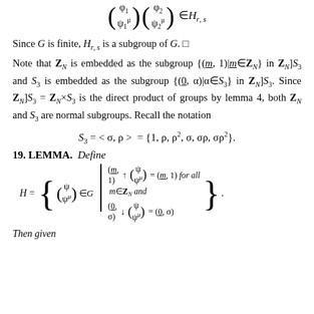Since G is finite, H_{r,s} is a subgroup of G. □
Note that Z_N is embedded as the subgroup {(m, 1)|m∈Z_N} in Z_N]S_3 and S_3 is embedded as the subgroup {(0, α)|α∈S_3} in Z_N]S_3. Since Z_N]S_3 = Z_N×S_3 is the direct product of groups by lemma 4, both Z_N and S_3 are normal subgroups. Recall the notation
19. LEMMA. Define
Then given